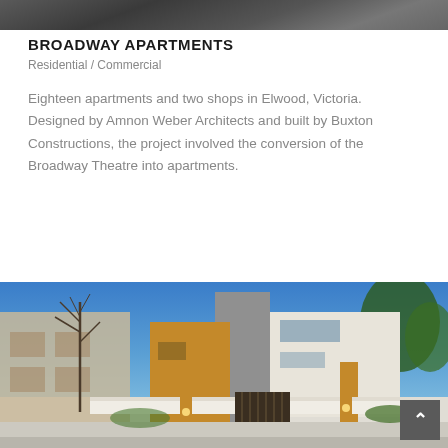[Figure (photo): Top portion of a black and white photo showing cars parked on a street, partially cropped at the top of the page.]
BROADWAY APARTMENTS
Residential / Commercial
Eighteen apartments and two shops in Elwood, Victoria. Designed by Amnon Weber Architects and built by Buxton Constructions, the project involved the conversion of the Broadway Theatre into apartments.
[Figure (photo): Exterior photo of the Broadway Apartments building at dusk/evening. The modern building features yellow/gold and white rendered walls with a tall grey concrete blade wall. Trees are visible on either side and there is a white fence in the foreground with gate posts.]